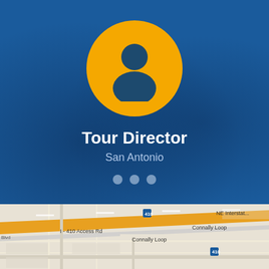[Figure (screenshot): Mobile app screenshot showing a Tour Director profile card with a yellow avatar circle containing a dark person silhouette icon, the title 'Tour Director', location 'San Antonio', three navigation dots, and a map view at the bottom showing San Antonio road intersections including I-410 Access Rd and Connally Loop.]
Tour Director
San Antonio